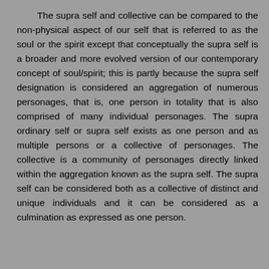The supra self and collective can be compared to the non-physical aspect of our self that is referred to as the soul or the spirit except that conceptually the supra self is a broader and more evolved version of our contemporary concept of soul/spirit; this is partly because the supra self designation is considered an aggregation of numerous personages, that is, one person in totality that is also comprised of many individual personages. The supra ordinary self or supra self exists as one person and as multiple persons or a collective of personages. The collective is a community of personages directly linked within the aggregation known as the supra self. The supra self can be considered both as a collective of distinct and unique individuals and it can be considered as a culmination as expressed as one person.